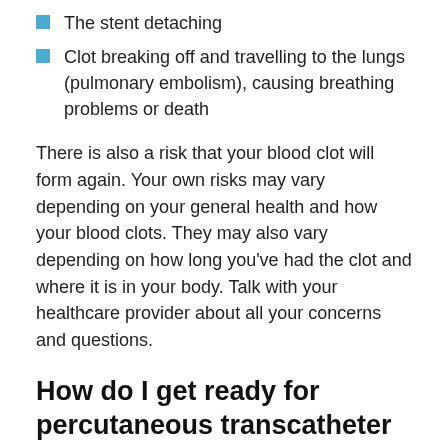The stent detaching
Clot breaking off and travelling to the lungs (pulmonary embolism), causing breathing problems or death
There is also a risk that your blood clot will form again. Your own risks may vary depending on your general health and how your blood clots. They may also vary depending on how long you’ve had the clot and where it is in your body. Talk with your healthcare provider about all your concerns and questions.
How do I get ready for percutaneous transcatheter treatment of DVT?
Before the procedure, you will need to sign a consent form. This gives your healthcare provider permission